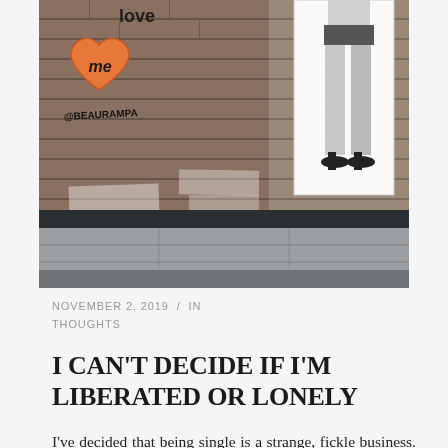[Figure (photo): Street art photograph showing a brick wall with graffiti: an orange heart with 'me' written inside and '@BEAURAMPA' tag, alongside a black and white paper cutout of women's legs in stockings and heels. Sidewalk visible at bottom.]
NOVEMBER 2, 2019  /  IN THOUGHTS
I CAN'T DECIDE IF I'M LIBERATED OR LONELY
I've decided that being single is a strange, fickle business. How quickly the pendulum can swing from sisters